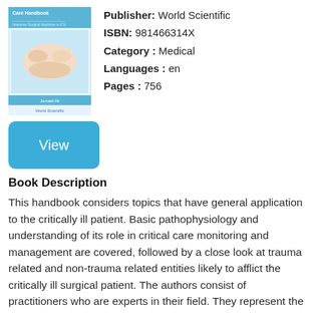[Figure (photo): Book cover image for a Critical Care Handbook with a photo of hands on a patient]
Publisher: World Scientific
ISBN: 981466314X
Category : Medical
Languages : en
Pages : 756
[Figure (other): Blue 'View' button]
Book Description
This handbook considers topics that have general application to the critically ill patient. Basic pathophysiology and understanding of its role in critical care monitoring and management are covered, followed by a close look at trauma related and non-trauma related entities likely to afflict the critically ill surgical patient. The authors consist of practitioners who are experts in their field. They represent the team approach to critical care management where members from the divisions of anesthesia, internal medicine, respiratory medicine, infectious disease and surgical specialties all contribute in